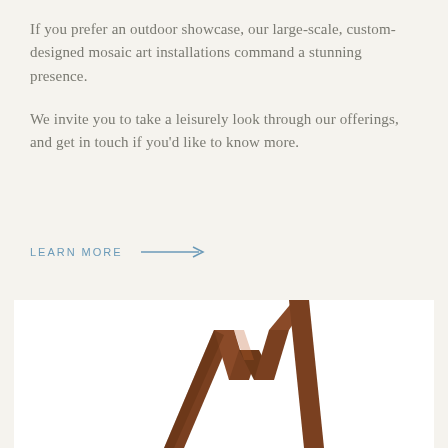If you prefer an outdoor showcase, our large-scale, custom-designed mosaic art installations command a stunning presence.
We invite you to take a leisurely look through our offerings, and get in touch if you'd like to know more.
LEARN MORE →
[Figure (photo): Close-up photo of a large bronze or rust-colored metallic sculpture shaped like the letter M with angular pointed forms, photographed against a white background.]